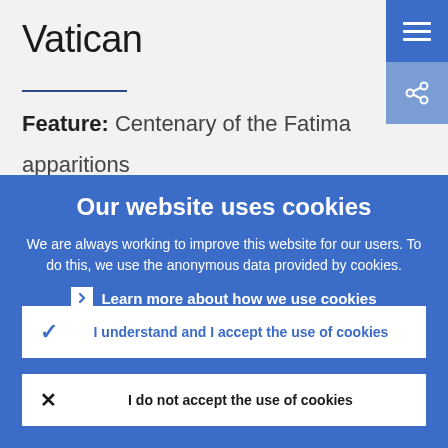Vatican
Feature: Centenary of the Fatima apparitions
Our website uses cookies
We are always working to improve this website for our users. To do this, we use the anonymous data provided by cookies.
› Learn more about how we use cookies
✓ I understand and I accept the use of cookies
✗ I do not accept the use of cookies